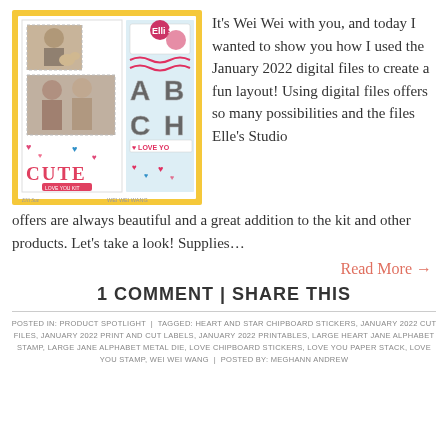[Figure (photo): Scrapbook layout featuring photos, hearts, 'CUTE' text, alphabet letters, created with January 2022 digital files by Wei Wei Wang for Elle's Studio]
It's Wei Wei with you, and today I wanted to show you how I used the January 2022 digital files to create a fun layout! Using digital files offers so many possibilities and the files Elle's Studio offers are always beautiful and a great addition to the kit and other products. Let's take a look! Supplies…
Read More →
1 COMMENT | SHARE THIS
POSTED IN: PRODUCT SPOTLIGHT  |  TAGGED: HEART AND STAR CHIPBOARD STICKERS, JANUARY 2022 CUT FILES, JANUARY 2022 PRINT AND CUT LABELS, JANUARY 2022 PRINTABLES, LARGE HEART JANE ALPHABET STAMP, LARGE JANE ALPHABET METAL DIE, LOVE CHIPBOARD STICKERS, LOVE YOU PAPER STACK, LOVE YOU STAMP, WEI WEI WANG  |  POSTED BY: MEGHANN ANDREW